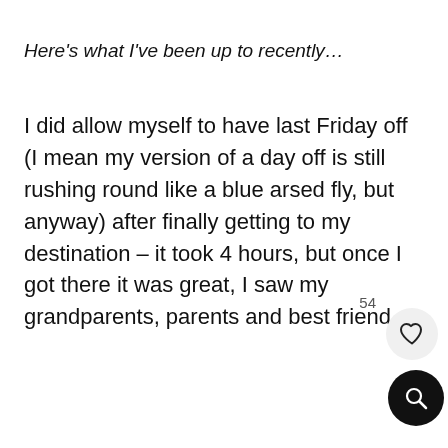Here's what I've been up to recently…
I did allow myself to have last Friday off (I mean my version of a day off is still rushing round like a blue arsed fly, but anyway) after finally getting to my destination – it took 4 hours, but once I got there it was great, I saw my grandparents, parents and best friend.